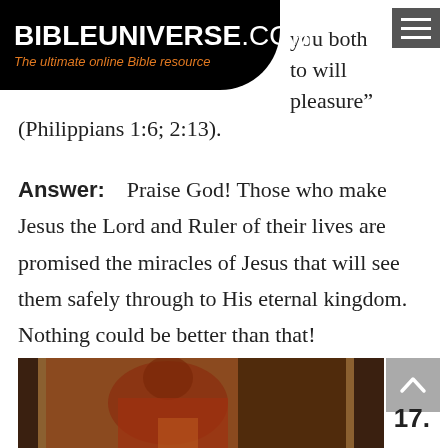BIBLEUNIVERSE.COM — The ultimate online Bible resource
you both to will
pleasure”
(Philippians 1:6; 2:13).
Answer:    Praise God! Those who make Jesus the Lord and Ruler of their lives are promised the miracles of Jesus that will see them safely through to His eternal kingdom. Nothing could be better than that!
[Figure (photo): Religious painting showing a figure in red robes, partially visible, with wooden frame elements and dark background]
17.